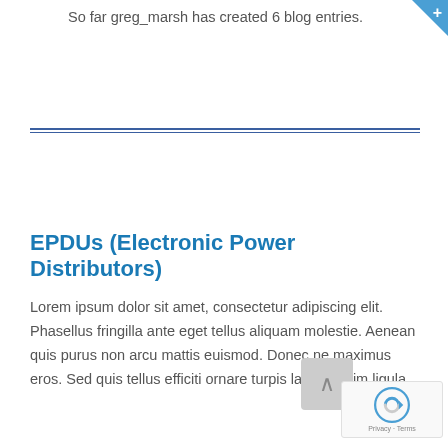So far greg_marsh has created 6 blog entries.
EPDUs (Electronic Power Distributors)
Lorem ipsum dolor sit amet, consectetur adipiscing elit. Phasellus fringilla ante eget tellus aliquam molestie. Aenean quis purus non arcu mattis euismod. Donec ne maximus eros. Sed quis tellus efficiti ornare turpis lacinia ritrim ligula.